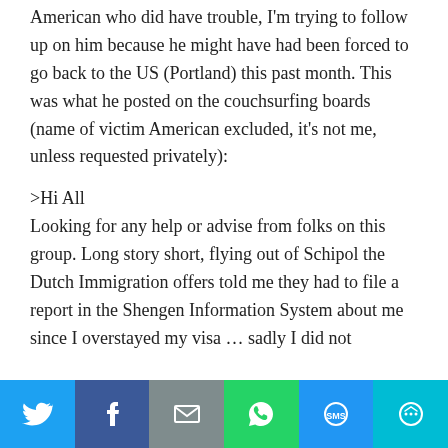American who did have trouble, I'm trying to follow up on him because he might have had been forced to go back to the US (Portland) this past month. This was what he posted on the couchsurfing boards (name of victim American excluded, it's not me, unless requested privately):
>Hi All
Looking for any help or advise from folks on this group. Long story short, flying out of Schipol the Dutch Immigration offers told me they had to file a report in the Shengen Information System about me since I overstayed my visa … sadly I did not
[Figure (other): Social sharing bar with icons for Twitter, Facebook, Email, WhatsApp, SMS, and More]